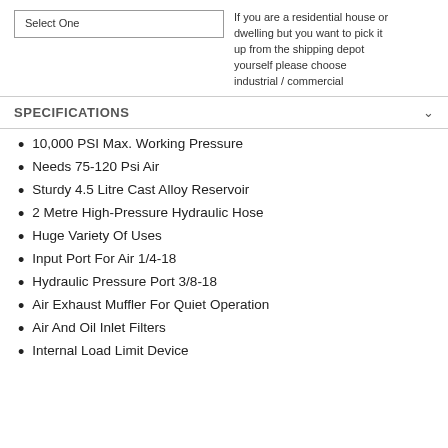Select One
If you are a residential house or dwelling but you want to pick it up from the shipping depot yourself please choose industrial / commercial
SPECIFICATIONS
10,000 PSI Max. Working Pressure
Needs 75-120 Psi Air
Sturdy 4.5 Litre Cast Alloy Reservoir
2 Metre High-Pressure Hydraulic Hose
Huge Variety Of Uses
Input Port For Air 1/4-18
Hydraulic Pressure Port 3/8-18
Air Exhaust Muffler For Quiet Operation
Air And Oil Inlet Filters
Internal Load Limit Device